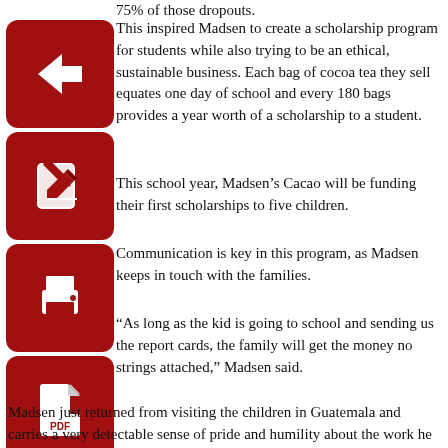75% of those dropouts.
This inspired Madsen to create a scholarship program for students while also trying to be an ethical, sustainable business. Each bag of cocoa tea they sell equates one day of school and every 180 bags provides a year worth of a scholarship to a student.
This school year, Madsen’s Cacao will be funding their first scholarships to five children.
Communication is key in this program, as Madsen keeps in touch with the families.
“As long as the kid is going to school and sending us the report cards, the family will get the money no strings attached,” Madsen said.
Madsen just returned from visiting the children in Guatemala and carries a very detectable sense of pride and humility about the work he is doing.
Madsen has a dream of being able to have 180 bags of Madsen’s Cacao being sold in a day, meaning a yearlong scholarship could be provided in one day of sales. Madsen, with a background in anthropology, is not an uppity businessman. With his casual, down-to-earth demeanor, it is evident he has a story to tell, and he is doing that through his business.